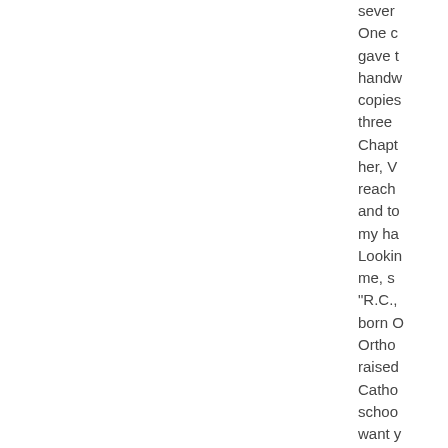several One c gave t handw copies three Chapt her, V reach and to my ha Lookin me, s "R.C., born O Ortho raised Catho schoo want know learne about Bible